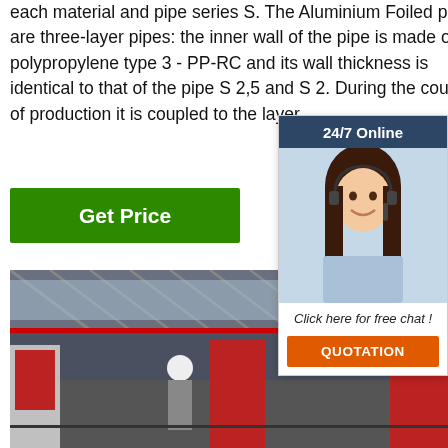each material and pipe series S. The Aluminium Foiled pipes are three-layer pipes: the inner wall of the pipe is made of polypropylene type 3 - PP-RC and its wall thickness is identical to that of the pipe S 2,5 and S 2. During the course of production it is coupled to the layer
[Figure (other): Green 'Get Price' button]
[Figure (other): 24/7 Online chat widget with photo of female customer service agent wearing headset, 'Click here for free chat!' text, and orange QUOTATION button]
[Figure (photo): Interior of a large industrial factory/warehouse with steel frame roof structure, workers in hard hats, red machinery and equipment on the factory floor]